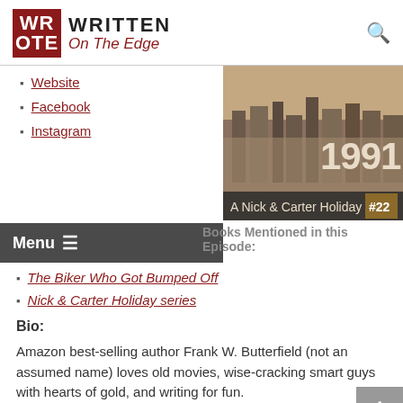Written On The Edge
Website
Facebook
Instagram
[Figure (photo): Book cover: 1991 A Nick & Carter Holiday #22, sepia-toned photo of San Francisco cityscape]
Books Mentioned in this Episode:
The Biker Who Got Bumped Off
Nick & Carter Holiday series
Bio:
Amazon best-selling author Frank W. Butterfield (not an assumed name) loves old movies, wise-cracking smart guys with hearts of gold, and writing for fun.
Although Frank worships San Francisco, he lives at the